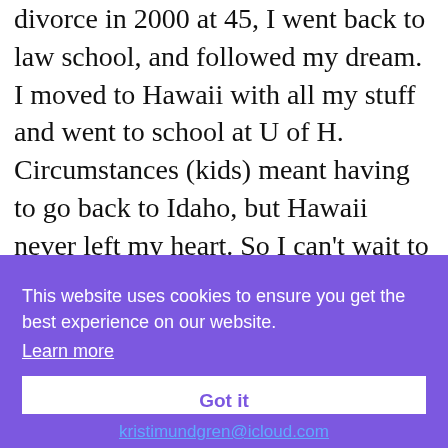divorce in 2000 at 45, I went back to law school, and followed my dream. I moved to Hawaii with all my stuff and went to school at U of H. Circumstances (kids) meant having to go back to Idaho, but Hawaii never left my heart. So I can't wait to read these books! I still have a friend who lives in Kauai, who's a realtor there. These go on the top of my
This website uses cookies to ensure you get the best experience on our website.
Learn more
Got it
kristimundgren@icloud.com